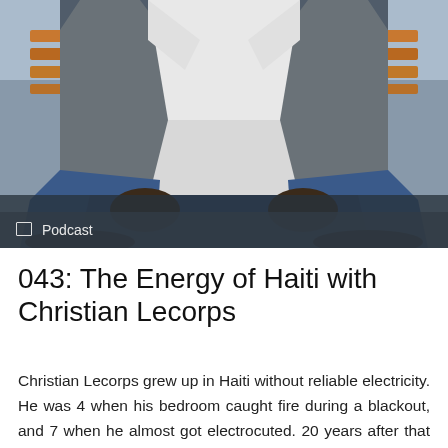[Figure (photo): A man wearing a grey blazer over a white shirt and blue jeans, sitting on a wooden bench. Photo taken from above showing his torso and legs. Dark overlay at bottom with podcast label.]
043: The Energy of Haiti with Christian Lecorps
Christian Lecorps grew up in Haiti without reliable electricity. He was 4 when his bedroom caught fire during a blackout, and 7 when he almost got electrocuted. 20 years after that fire, powered by the passion of changing the fate of younger "Christian"s and of anyone